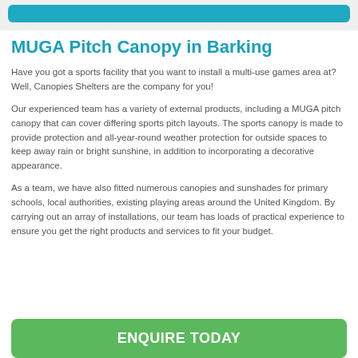[Figure (other): Teal/cyan button banner at top of page]
MUGA Pitch Canopy in Barking
Have you got a sports facility that you want to install a multi-use games area at? Well, Canopies Shelters are the company for you!
Our experienced team has a variety of external products, including a MUGA pitch canopy that can cover differing sports pitch layouts. The sports canopy is made to provide protection and all-year-round weather protection for outside spaces to keep away rain or bright sunshine, in addition to incorporating a decorative appearance.
As a team, we have also fitted numerous canopies and sunshades for primary schools, local authorities, existing playing areas around the United Kingdom. By carrying out an array of installations, our team has loads of practical experience to ensure you get the right products and services to fit your budget.
[Figure (other): Green ENQUIRE TODAY button at bottom of page]